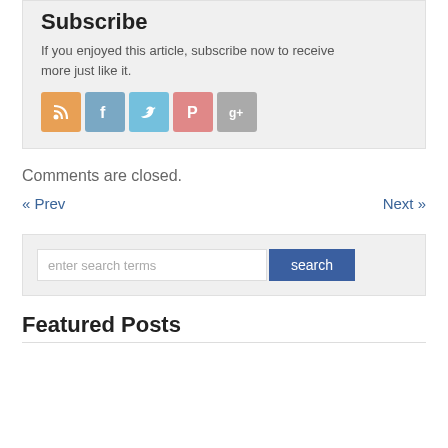Subscribe
If you enjoyed this article, subscribe now to receive more just like it.
[Figure (infographic): Row of five social media icon buttons: RSS (orange), Facebook (blue), Twitter (light blue), Pinterest (pink/red), Google+ (gray)]
Comments are closed.
« Prev
Next »
enter search terms
search
Featured Posts